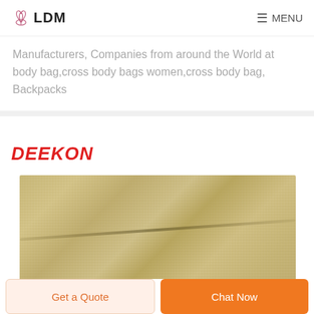LDM   MENU
Manufacturers, Companies from around the World at body bag,cross body bags women,cross body bag, Backpacks
DEEKON
[Figure (photo): Close-up photo of folded olive/khaki suede or microfiber fabric material]
Get a Quote   Chat Now